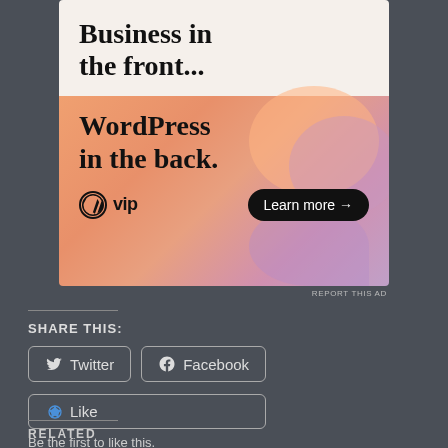[Figure (illustration): WordPress VIP advertisement. Top: cream background with large serif bold text 'Business in the front...'. Bottom: colorful gradient orange/pink/purple background with large serif bold text 'WordPress in the back.' and WordPress VIP logo on the left, 'Learn more →' rounded button on the right.]
REPORT THIS AD
SHARE THIS:
Twitter  Facebook
Like
Be the first to like this.
RELATED